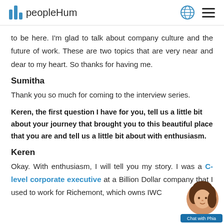peopleHum
to be here. I'm glad to talk about company culture and the future of work. These are two topics that are very near and dear to my heart. So thanks for having me.
Sumitha
Thank you so much for coming to the interview series.
Keren, the first question I have for you, tell us a little bit about your journey that brought you to this beautiful place that you are and tell us a little bit about with enthusiasm.
Keren
Okay. With enthusiasm, I will tell you my story. I was a C-level corporate executive at a Billion Dollar company that I used to work for Richemont, which owns IWC